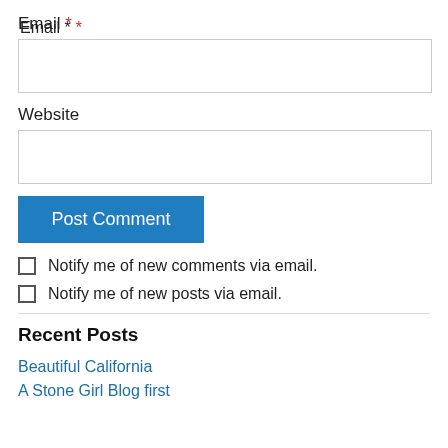Email *
Website
Post Comment
Notify me of new comments via email.
Notify me of new posts via email.
Recent Posts
Beautiful California
A Stone Girl Blog first